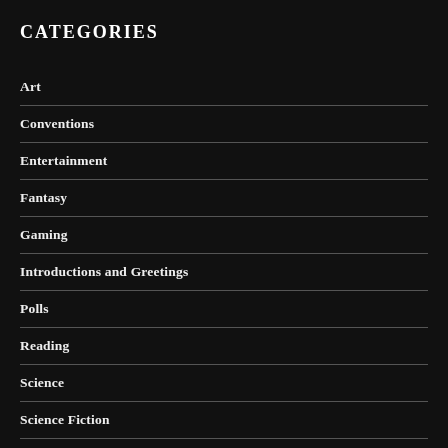CATEGORIES
Art
Conventions
Entertainment
Fantasy
Gaming
Introductions and Greetings
Polls
Reading
Science
Science Fiction
Society